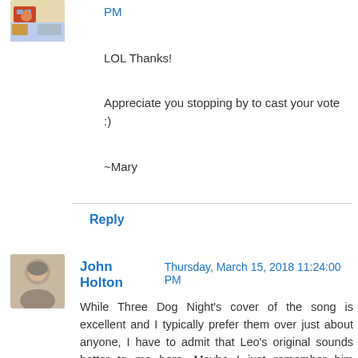PM
LOL Thanks!
Appreciate you stopping by to cast your vote :)
~Mary
Reply
John Holton Thursday, March 15, 2018 11:24:00 PM
While Three Dog Night's cover of the song is excellent and I typically prefer them over just about anyone, I have to admit that Leo's original sounds better to me here. Maybe I just remember him singing it while dressed as Pierrot, which I thought added the appropriate dose of patheticness to it, or maybe I'm rebelling against my better judgment , but I'm going with Leo Sayer here.
Reply